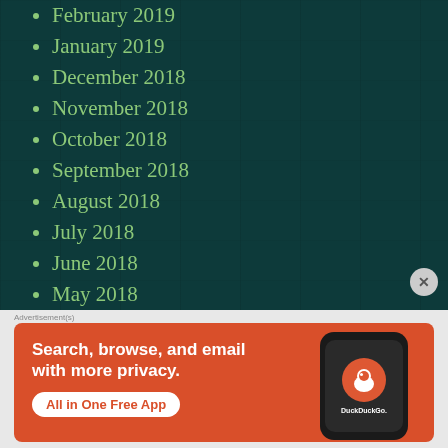February 2019
January 2019
December 2018
November 2018
October 2018
September 2018
August 2018
July 2018
June 2018
May 2018
April 2018
[Figure (screenshot): DuckDuckGo advertisement banner: orange background with text 'Search, browse, and email with more privacy. All in One Free App' and a phone showing the DuckDuckGo logo]
Advertisement(s)